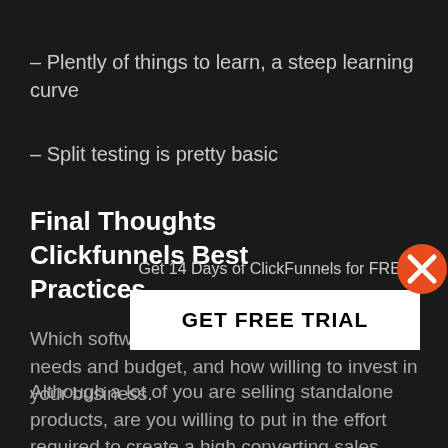– Plently of things to learn, a steep learning curve
– Split testing is pretty basic
Final Thoughts Clickfunnels Best Practices
Which software you go with depends on your needs and budget, and how willing to invest in your business.
[Figure (other): Modal popup overlay with orange X close button, text 'Get 14 Days of ClickFunnels for FREE', and a white button labeled 'GET FREE TRIAL']
Although a lot of you are selling standalone products, are you willing to put in the effort required to create a high converting sales funnel?